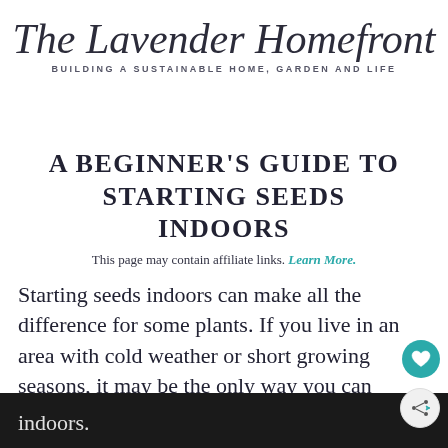[Figure (logo): The Lavender Homefront logo with cursive script title and lavender sprig illustration]
A BEGINNER'S GUIDE TO STARTING SEEDS INDOORS
This page may contain affiliate links. Learn More.
Starting seeds indoors can make all the difference for some plants. If you live in an area with cold weather or short growing seasons, it may be the only way you can grow vegetables with success. Learn all about seed starting indoors.